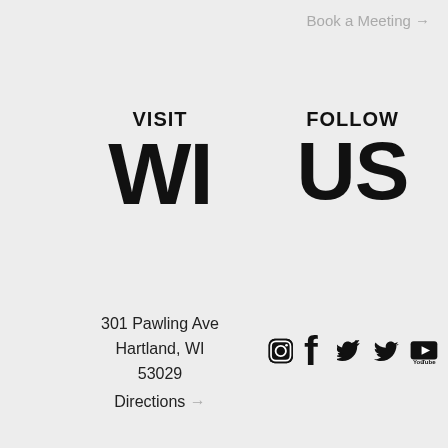Book a Meeting →
VISIT
WI
FOLLOW
US
301 Pawling Ave
Hartland, WI
53029
Directions →
[Figure (illustration): Social media icons: Instagram, Facebook, Twitter, YouTube]